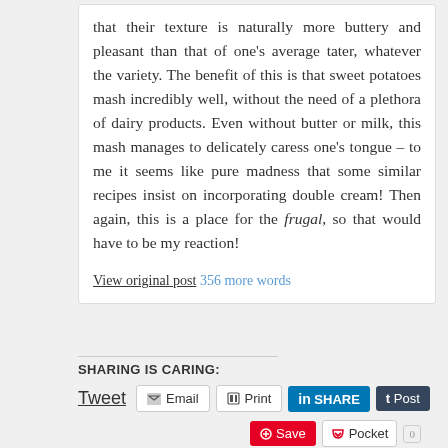that their texture is naturally more buttery and pleasant than that of one's average tater, whatever the variety. The benefit of this is that sweet potatoes mash incredibly well, without the need of a plethora of dairy products. Even without butter or milk, this mash manages to delicately caress one's tongue – to me it seems like pure madness that some similar recipes insist on incorporating double cream! Then again, this is a place for the frugal, so that would have to be my reaction!
View original post 356 more words
SHARING IS CARING:
Tweet  Email  Print  SHARE  Post  Save  Pocket  0